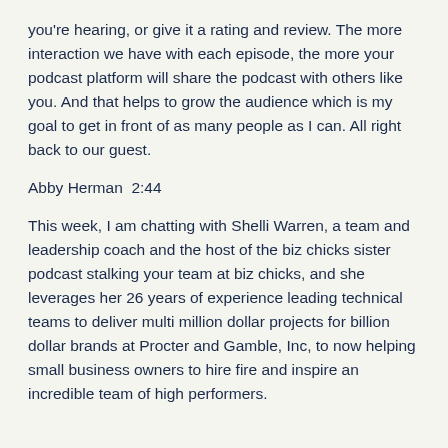you're hearing, or give it a rating and review. The more interaction we have with each episode, the more your podcast platform will share the podcast with others like you. And that helps to grow the audience which is my goal to get in front of as many people as I can. All right back to our guest.
Abby Herman  2:44
This week, I am chatting with Shelli Warren, a team and leadership coach and the host of the biz chicks sister podcast stalking your team at biz chicks, and she leverages her 26 years of experience leading technical teams to deliver multi million dollar projects for billion dollar brands at Procter and Gamble, Inc, to now helping small business owners to hire fire and inspire an incredible team of high performers.